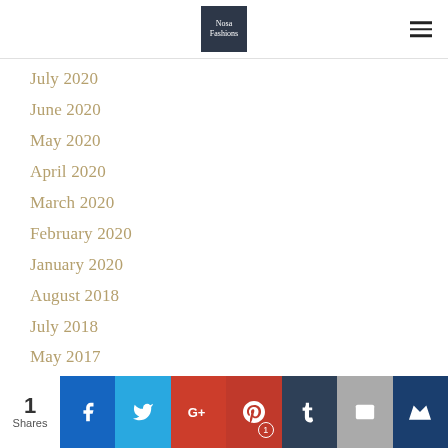Nosa Fashions
July 2020
June 2020
May 2020
April 2020
March 2020
February 2020
January 2020
August 2018
July 2018
May 2017
April 2017
October 2016
September 2016
July 2016
June 2016
1 Shares | Facebook | Twitter | Google+ | Pinterest 1 | Tumblr | Email | Crown